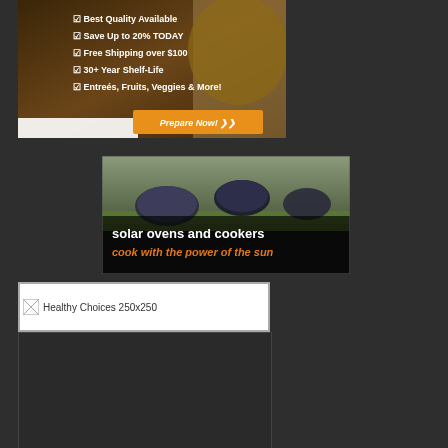[Figure (illustration): Advertisement banner showing food storage products with checkmarks listing: Best Quality Available, Save Up to 20% TODAY, Free Shipping over $100, 30+ Year Shelf-Life, Entreés, Fruits, Veggies & More! With orange 'Prepare Now!' button and grain/food imagery on right.]
[Figure (illustration): Advertisement banner for solar ovens and cookers showing parabolic solar cooker dishes outdoors. Text reads 'solar ovens and cookers' in white and 'cook with the power of the sun' in orange.]
[Figure (illustration): Broken image placeholder reading 'Healthy Choices 250x250']